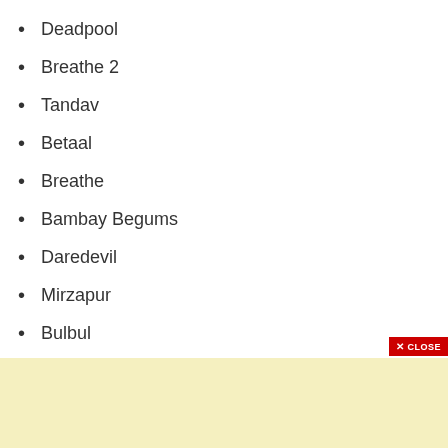Deadpool
Breathe 2
Tandav
Betaal
Breathe
Bambay Begums
Daredevil
Mirzapur
Bulbul